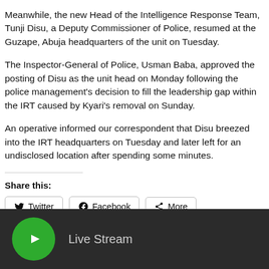Meanwhile, the new Head of the Intelligence Response Team, Tunji Disu, a Deputy Commissioner of Police, resumed at the Guzape, Abuja headquarters of the unit on Tuesday.
The Inspector-General of Police, Usman Baba, approved the posting of Disu as the unit head on Monday following the police management's decision to fill the leadership gap within the IRT caused by Kyari's removal on Sunday.
An operative informed our correspondent that Disu breezed into the IRT headquarters on Tuesday and later left for an undisclosed location after spending some minutes.
Share this:
[Figure (other): Share buttons for Twitter, Facebook, and More]
[Figure (other): Live Stream button with green play icon on dark background]